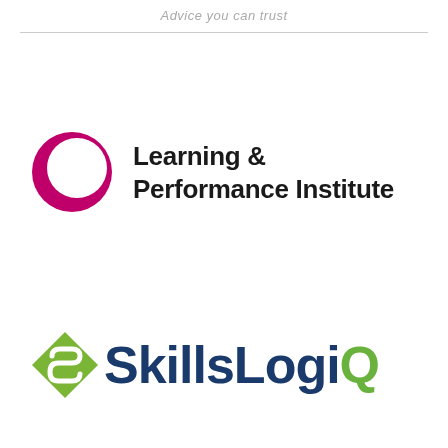Advice you can trust
[Figure (logo): Learning & Performance Institute logo with magenta/pink crescent circle icon on the left and bold text 'Learning & Performance Institute' on the right]
[Figure (logo): SkillsLogiQ logo with green diamond/arrow icon on the left and dark blue bold text 'SkillsLogiQ' with a green Q on the right]